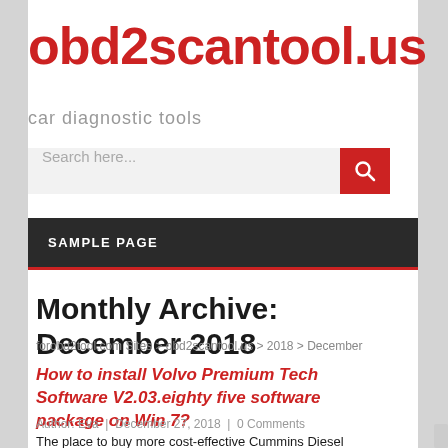obd2scantool.us
car diagnostic tools
Search here...
SAMPLE PAGE
Monthly Archive: December 2018
forobd2tool.com Sites > obd2scantool.us > 2018 > December
How to install Volvo Premium Tech Software V2.03.eighty five software package on Win 7?
Author: Eva  |  December 27, 2018  |  0 Comments
The place to buy more cost-effective Cummins Diesel Engines